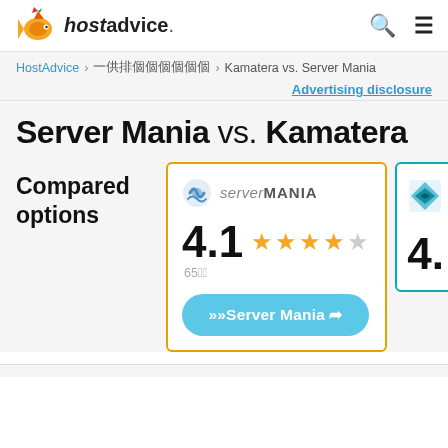hostadvice. [search icon] [menu icon]
HostAdvice > ホスティング比較 > Kamatera vs. Server Mania
Advertising disclosure
Server Mania vs. Kamatera
Compared options
[Figure (infographic): Server Mania hosting card showing logo, 4.1 star rating (65 reviews), and a Visit Server Mania button. Partially visible Kamatera card on the right showing 4.x rating.]